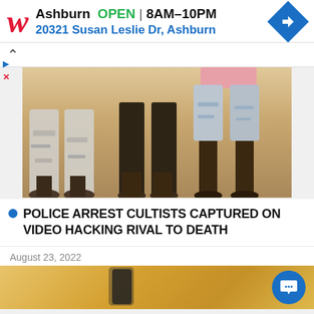[Figure (screenshot): Walgreens advertisement banner showing logo, store location in Ashburn with OPEN hours 8AM-10PM and address 20321 Susan Leslie Dr, Ashburn, with navigation icon]
[Figure (photo): Photo showing lower bodies/legs of three people standing, one wearing ripped light jeans, one wearing dark pants, one wearing denim shorts and pink top]
POLICE ARREST CULTISTS CAPTURED ON VIDEO HACKING RIVAL TO DEATH
August 23, 2022
[Figure (photo): Partial view of bottom photo strip, cropped image]